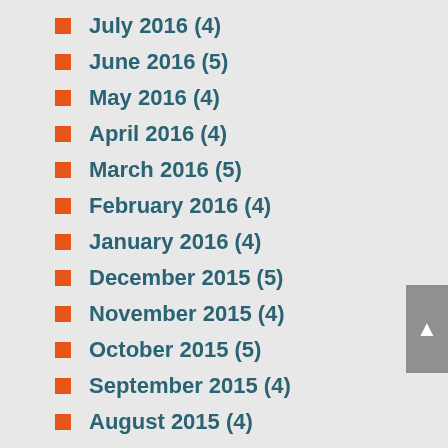July 2016 (4)
June 2016 (5)
May 2016 (4)
April 2016 (4)
March 2016 (5)
February 2016 (4)
January 2016 (4)
December 2015 (5)
November 2015 (4)
October 2015 (5)
September 2015 (4)
August 2015 (4)
July 2015 (5)